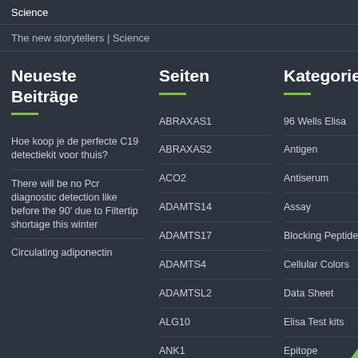Science
The new storytellers | Science
Neueste Beiträge
Seiten
Kategorien
Hoe koop je de perfecte C19 detectiekit voor thuis?
There will be no Pcr diagnostic detection like before the 90' due to Filtertip shortage this winter
Circulating adiponectin
ABRAXAS1
ABRAXAS2
ACO2
ADAMTS14
ADAMTS17
ADAMTS4
ADAMTSL2
ALG10
ANK1
antibody clone
96 Wells Elisa
Antigen
Antiserum
Assay
Blocking Peptide
Cellular Colors
Data Sheet
Elisa Test kits
Epitope
Facs